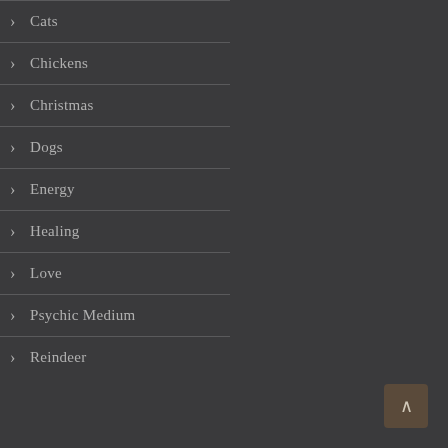Cats
Chickens
Christmas
Dogs
Energy
Healing
Love
Psychic Medium
Reindeer